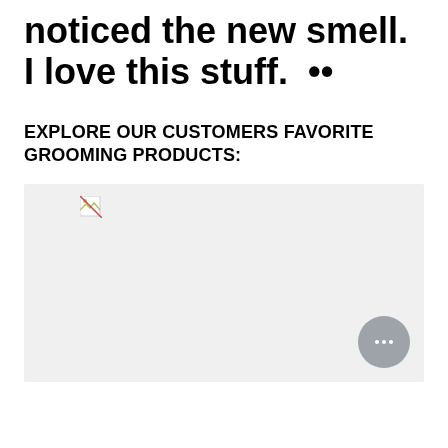noticed the new smell. I love this stuff.  ••
EXPLORE OUR CUSTOMERS FAVORITE GROOMING PRODUCTS:
[Figure (photo): Broken image placeholder showing a grooming product image area with a broken image icon in the upper left, and a gray chat button overlay in the bottom right corner.]